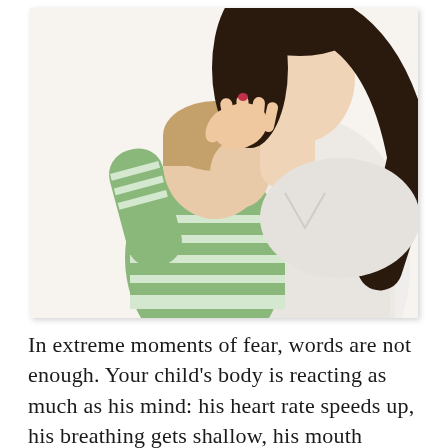[Figure (photo): A woman with long dark hair wearing a white top holds a young child dressed in a green and white striped shirt. The child has their face pressed against the woman's shoulder. The woman's hand gently cradles the back of the child's head. The background is white/light.]
In extreme moments of fear, words are not enough. Your child's body is reacting as much as his mind: his heart rate speeds up, his breathing gets shallow, his mouth